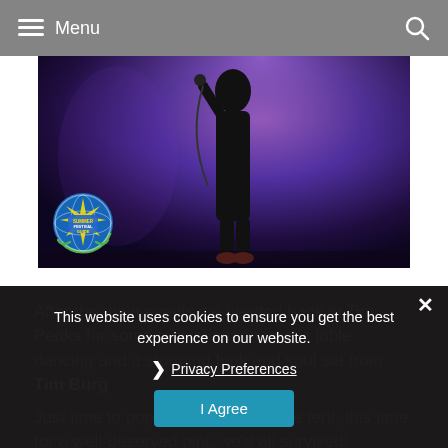Menu
[Figure (photo): Concert performer on stage against purple/violet lighting, holding a microphone, silhouetted with dramatic stage lighting. Summer Festival Guide logo overlay in bottom-left corner of photo.]
After the main events we headed back to Tim Peaks for some relaxation, energetic table dancing and a storming funk and soul set from Tim Burg
Just time to pop back to the real ale tent, this time for a well-deserved pint, we'd all survived!
This website uses cookies to ensure you get the best experience on our website.
Privacy Preferences
I Agree